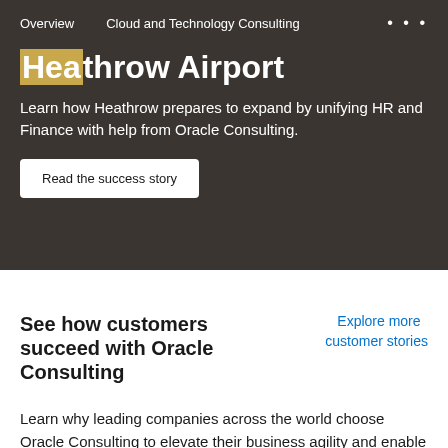Overview   Cloud and Technology Consulting   •••
Heathrow Airport
Learn how Heathrow prepares to expand by unifying HR and Finance with help from Oracle Consulting.
Read the success story
See how customers succeed with Oracle Consulting
Explore more customer stories
Learn why leading companies across the world choose Oracle Consulting to elevate their business agility and enable robust outcomes with Oracle Cloud.